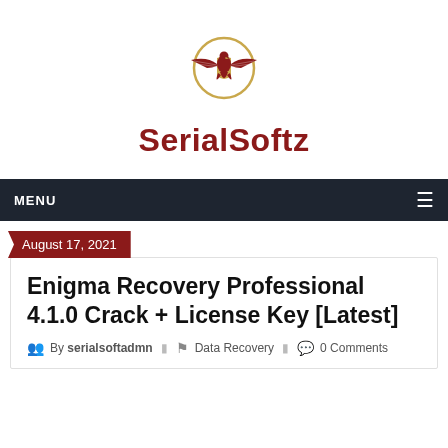[Figure (logo): SerialSoftz logo: eagle with wings spread over a shield, inside a gold circle, above the text SerialSoftz in dark red bold font]
MENU
August 17, 2021
Enigma Recovery Professional 4.1.0 Crack + License Key [Latest]
By serialsoftadmn   Data Recovery   0 Comments